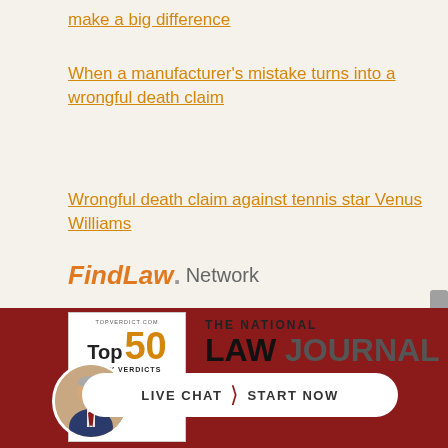make a big difference
When a manufacturer's mistake turns into a wrongful death claim
Wrongful death claim against tennis star Venus Williams
[Figure (logo): FindLaw Network logo with orange FindLaw text and gray 'Network' text]
[Figure (logo): TopVerdict.com Top 50 Jury Verdicts Car Accidents badge]
[Figure (logo): The National Law Journal logo in bold dark text]
[Figure (infographic): Live chat button with Start Now text and attorney photo avatar on dark red background]